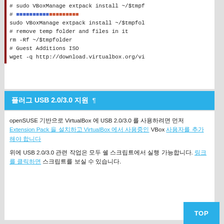# sudo VBoxManage extpack install ~/$tmpf
# [colored text links]
sudo VBoxManage extpack install ~/$tmpfol
# remove temp folder and files in it
rm -Rf ~/$tmpfolder
# Guest Additions ISO
wget -q http://download.virtualbox.org/vi
플러그 USB 2.0/3.0 지원 ¶
openSUSE 기반으로 VirtualBox 에 USB 2.0/3.0 를 사용하려면 먼저 Extension Pack 을 설치하고 VirtualBox 에서 사용중인 VBox 사용자를 추가해야 합니다.
위에 USB 2.0/3.0 관련 작업은 모두 쉘 스크립트에서 실행 가능합니다. 링크를 클릭하면 스크립트를 보실 수 있습니다.